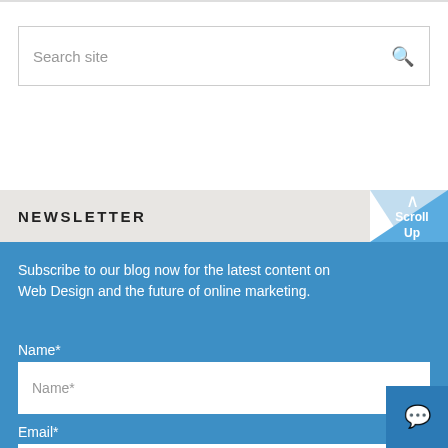Search site
NEWSLETTER
Subscribe to our blog now for the latest content on Web Design and the future of online marketing.
Name*
Name*
Email*
Email*